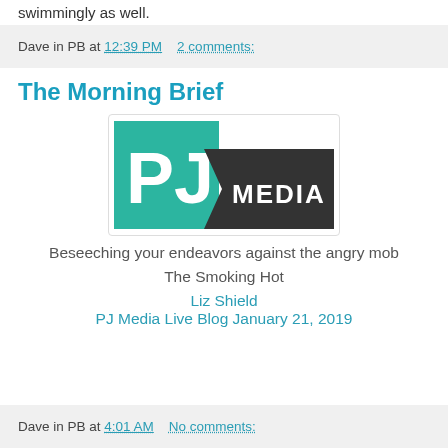swimmingly as well.
Dave in PB at 12:39 PM   2 comments:
The Morning Brief
[Figure (logo): PJ Media logo: teal square with white 'PJ' letters, dark banner with 'MEDIA' text]
Beseeching your endeavors against the angry mob
The Smoking Hot
Liz Shield
PJ Media Live Blog January 21, 2019
Dave in PB at 4:01 AM   No comments: